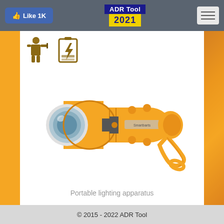Like 1K | ADR Tool 2021
[Figure (illustration): Two small icons: a hazmat/worker figure icon and a battery/electrical icon]
[Figure (photo): An orange portable flashlight/torch with wrist strap, positioned diagonally on white background]
Portable lighting apparatus
© 2015 - 2022 ADR Tool